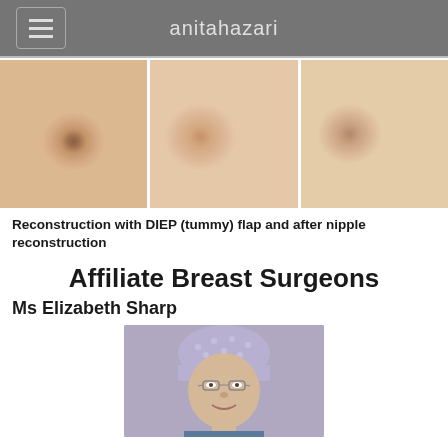anitahazari
[Figure (photo): Three medical photos showing breast reconstruction stages: pre-op, post DIEP flap reconstruction, and after nipple reconstruction]
Reconstruction with DIEP (tummy) flap and after nipple reconstruction
Affiliate Breast Surgeons
Ms Elizabeth Sharp
[Figure (photo): Portrait photo of Ms Elizabeth Sharp wearing surgical scrub cap and glasses, smiling]